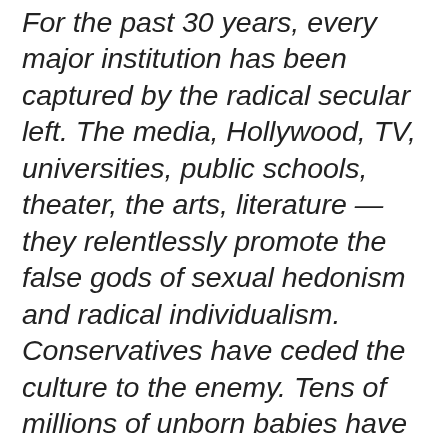For the past 30 years, every major institution has been captured by the radical secular left. The media, Hollywood, TV, universities, public schools, theater, the arts, literature — they relentlessly promote the false gods of sexual hedonism and radical individualism. Conservatives have ceded the culture to the enemy. Tens of millions of unborn babies have been slaughtered; illegitimacy rates have soared; divorce has skyrocketed; pornography is rampant; drug use has exploded; sexually transmitted diseases such as AIDS have